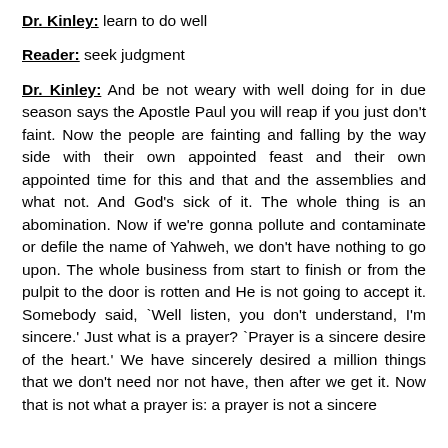Dr. Kinley:  learn to do well
Reader:  seek judgment
Dr. Kinley:  And be not weary with well doing for in due season says the Apostle Paul you will reap if you just don't faint.  Now the people are fainting and falling by the way side with their own appointed feast and their own appointed time for this and that and the assemblies and what not.  And God's sick of it.  The whole thing is an abomination.  Now if we're gonna pollute and contaminate or defile the name of Yahweh, we don't have nothing to go upon.  The whole business from start to finish or from the pulpit to the door is rotten and He is not going to accept it.  Somebody said, `Well listen, you don't understand, I'm sincere.'  Just what is a prayer?  `Prayer is a sincere desire of the heart.'  We have sincerely desired a million things that we don't need nor not have, then after we get it.  Now that is not what a prayer is:  a prayer is not a sincere